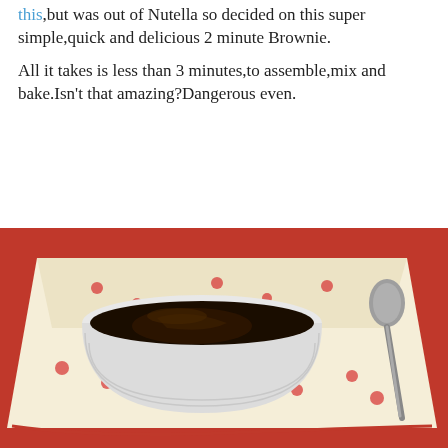this,but was out of Nutella so decided on this super simple,quick and delicious 2 minute Brownie.
All it takes is less than 3 minutes,to assemble,mix and bake.Isn't that amazing?Dangerous even.
[Figure (photo): A white ramekin bowl containing a chocolate brownie with shiny chocolate sauce on top, placed on a cream-colored cloth napkin with red strawberry pattern, with a metal spoon beside it, all on a red surface.]